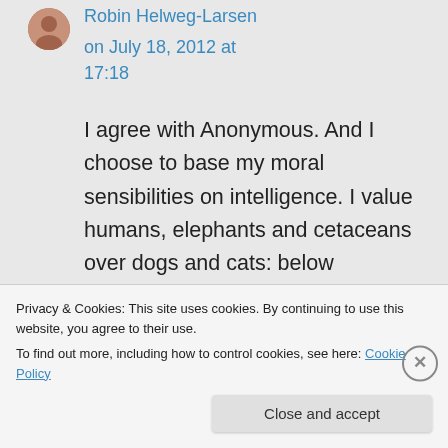Robin Helweg-Larsen
on July 18, 2012 at 17:18
I agree with Anonymous. And I choose to base my moral sensibilities on intelligence. I value humans, elephants and cetaceans over dogs and cats: below
Privacy & Cookies: This site uses cookies. By continuing to use this website, you agree to their use.
To find out more, including how to control cookies, see here: Cookie Policy
Close and accept